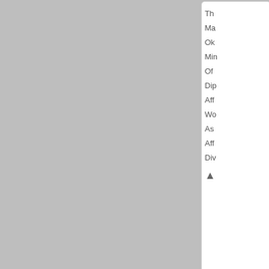[Figure (other): Partial view of a forum post card showing truncated menu items on the right edge: Th, Ma, Ok, Min, Of, Dip, Aff, Wo, As, Aff, Div, and a scroll button]
[Figure (other): A national flag image with gold/yellow and dark blue upper half and gold/yellow and dark red lower half divided by a black cross]
Barfleur
Diplomat
Posts: 700
Founded: Mar 04, 2019
Left-Leaning College State
QUOTE
by Barfleur »
Tue May 17, 2022 5:21 pm
"So Am this pro